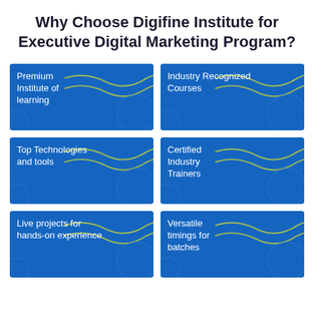Why Choose Digifine Institute for Executive Digital Marketing Program?
[Figure (infographic): Six blue cards in a 2-column grid showing reasons to choose Digifine Institute: Premium Institute of learning, Industry Recognized Courses, Top Technologies and tools, Certified Industry Trainers, Live projects for hands-on experience, Versatile timings for batches]
Premium Institute of learning
Industry Recognized Courses
Top Technologies and tools
Certified Industry Trainers
Live projects for hands-on experience
Versatile timings for batches